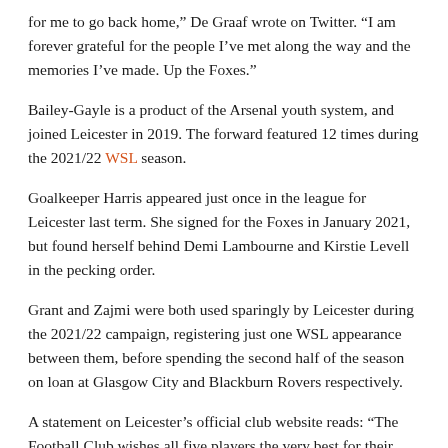for me to go back home,” De Graaf wrote on Twitter. “I am forever grateful for the people I’ve met along the way and the memories I’ve made. Up the Foxes.”
Bailey-Gayle is a product of the Arsenal youth system, and joined Leicester in 2019. The forward featured 12 times during the 2021/22 WSL season.
Goalkeeper Harris appeared just once in the league for Leicester last term. She signed for the Foxes in January 2021, but found herself behind Demi Lambourne and Kirstie Levell in the pecking order.
Grant and Zajmi were both used sparingly by Leicester during the 2021/22 campaign, registering just one WSL appearance between them, before spending the second half of the season on loan at Glasgow City and Blackburn Rovers respectively.
A statement on Leicester’s official club website reads: “The Football Club wishes all five players the very best for their future careers and thanks them for their contributions to what has been a historic period for LCFC Women and the